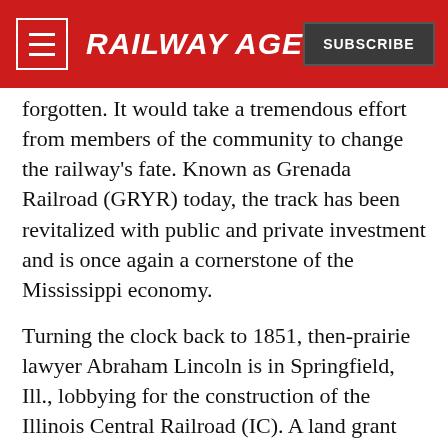RAILWAY AGE | SUBSCRIBE
forgotten. It would take a tremendous effort from members of the community to change the railway's fate. Known as Grenada Railroad (GRYR) today, the track has been revitalized with public and private investment and is once again a cornerstone of the Mississippi economy.
Turning the clock back to 1851, then-prairie lawyer Abraham Lincoln is in Springfield, Ill., lobbying for the construction of the Illinois Central Railroad (IC). A land grant had been approved in the late 1840s by the federal government to establish a rail line that connected Mississippi to Chicago; but this decision was not unanimous, and Lincoln would have to defend the railroad against legal and political opposition. IC was